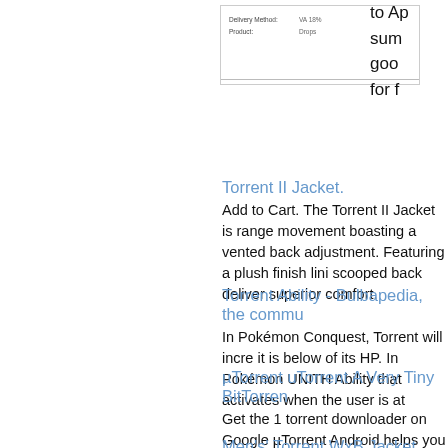[Figure (screenshot): Screenshot of a web form showing Delivery Method: VA 18% and Product: Drops]
to Ap sum goo for f
Torrent II Jacket.
Add to Cart. The Torrent II Jacket is range movement boasting a vented back adjustment. Featuring a plush finish lini scooped back deliver superior comfort.
Torrent Ability - Bulbapedia, the commu
In Pokémon Conquest, Torrent will incre it is below of its HP. In Pokémon UNITH Ability that activates when the user is at
µTorrent uTorrent A Very Tiny BitTorren
Get the 1 torrent downloader on Google µTorrent Android helps you download to Android smartphone or tablet. Enjoy a s no speed or size limits! Download torren
Men's' Torrent WxB Jacket Australia
Home / shop / men / outerwear / road / M